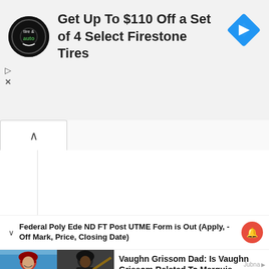[Figure (screenshot): Advertisement banner for Firestone Tires: circular tire & auto logo on black background, heading text, and a blue diamond navigation icon on the right]
Get Up To $110 Off a Set of 4 Select Firestone Tires
[Figure (screenshot): White content area with a tab/collapse button showing an upward chevron]
Federal Poly Ede ND FT Post UTME Form is Out (Apply, -Off Mark, Price, Closing Date)
[Figure (photo): Two baseball players side by side - one in red uniform on left, one in dark uniform batting on right]
Vaughn Grissom Dad: Is Vaughn Grissom Related To Marquis Grissom? Parents
ngnews247.com